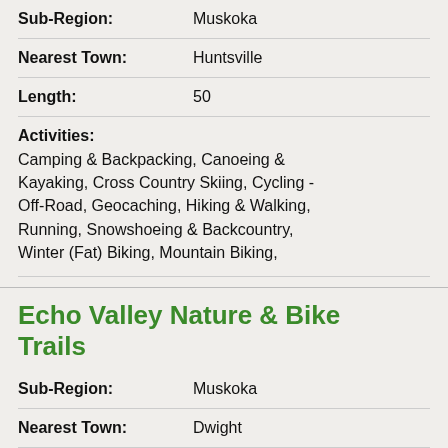| Sub-Region: | Muskoka (implied, cut off at top) |
| Nearest Town: | Huntsville |
| Length: | 50 |
Activities:
Camping & Backpacking, Canoeing & Kayaking, Cross Country Skiing, Cycling - Off-Road, Geocaching, Hiking & Walking, Running, Snowshoeing & Backcountry, Winter (Fat) Biking, Mountain Biking,
Echo Valley Nature & Bike Trails
| Sub-Region: | Muskoka |
| Nearest Town: | Dwight |
| Length: | 3.5 |
Activities:
Cycling - Off-Road, Hiking & Walking,